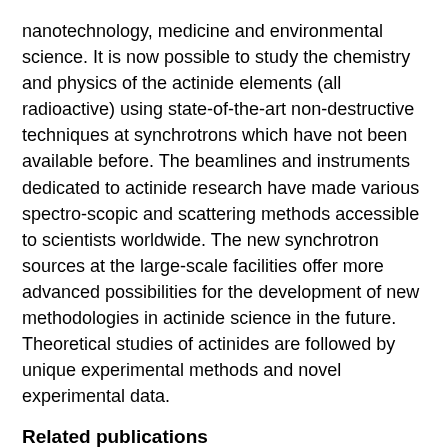nanotechnology, medicine and environmental science. It is now possible to study the chemistry and physics of the actinide elements (all radioactive) using state-of-the-art non-destructive techniques at synchrotrons which have not been available before. The beamlines and instruments dedicated to actinide research have made various spectroscopic and scattering methods accessible to scientists worldwide. The new synchrotron sources at the large-scale facilities offer more advanced possibilities for the development of new methodologies in actinide science in the future. Theoretical studies of actinides are followed by unique experimental methods and novel experimental data.
Related publications
DOI: 10.1107/S1600577520014265 is cited by this (Id 34062) publication.